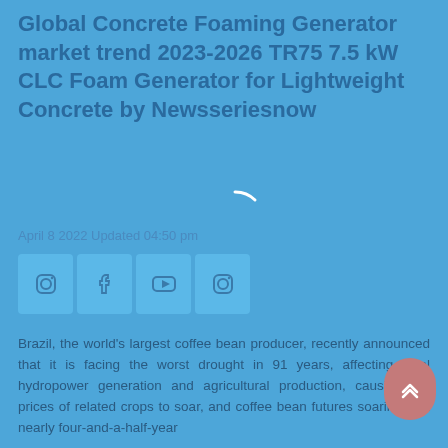Global Concrete Foaming Generator market trend 2023-2026 TR75 7.5 kW CLC Foam Generator for Lightweight Concrete by Newsseriesnow
April 8 2022 Updated 04:50 pm
[Figure (other): Social media icons: Instagram, Facebook, YouTube, Instagram in rounded square boxes]
[Figure (other): Loading spinner arc, white partial circle on blue background]
Brazil, the world's largest coffee bean producer, recently announced that it is facing the worst drought in 91 years, affecting local hydropower generation and agricultural production, causing the prices of related crops to soar, and coffee bean futures soaring to a nearly four-and-a-half-year